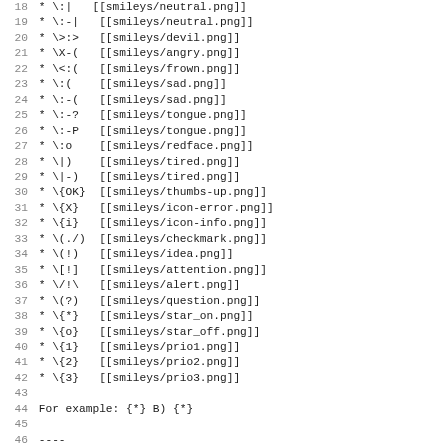Code listing showing smiley mappings and explanatory text lines 18-50